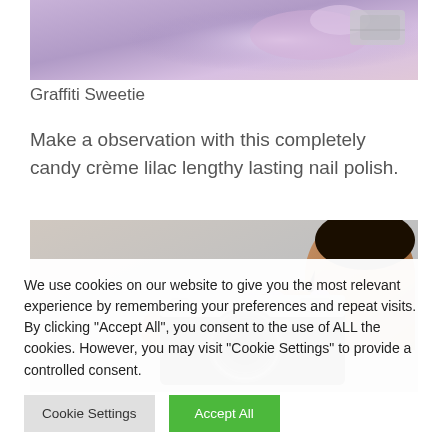[Figure (photo): Close-up of hands with lilac nail polish holding a camera or similar object, purple tones]
Graffiti Sweetie
Make a observation with this completely candy crème lilac lengthy lasting nail polish.
[Figure (photo): Person holding a vintage/film camera up to their face, hands with lilac nail polish visible, urban background]
We use cookies on our website to give you the most relevant experience by remembering your preferences and repeat visits. By clicking "Accept All", you consent to the use of ALL the cookies. However, you may visit "Cookie Settings" to provide a controlled consent.